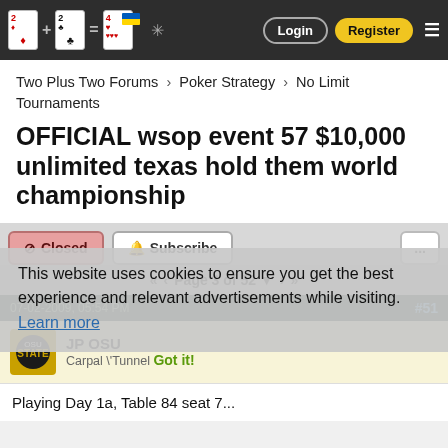Two Plus Two Forums — Login | Register
Two Plus Two Forums › Poker Strategy › No Limit Tournaments
OFFICIAL wsop event 57 $10,000 unlimited texas hold them world championship
Closed  Subscribe  ...
Page 3 of 52
07-02-2009, 05:54 PM  #51
JP OSU
Carpal \'Tunnel  Got it!
This website uses cookies to ensure you get the best experience and relevant advertisements while visiting. Learn more
Playing Day 1a, Table 84 seat 7...